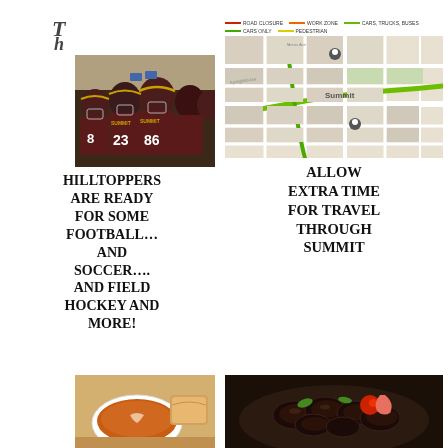[Figure (logo): Small logo top left]
[Figure (photo): Summit Hilltoppers football team players in maroon and gold uniforms with numbers 23, 86 visible]
HILLTOPPERS ARE READY FOR SOME FOOTBALL… AND SOCCER…. AND FIELD HOCKEY AND MORE!
[Figure (map): Road map of Summit area showing green route lines with legend: ROAD CLOSURE (red), WORK ZONE (orange), CARS, TRUCKS, BUSES (green), CARS ONLY (green), PEDESTRIAN (yellow)]
ALLOW EXTRA TIME FOR TRAVEL THROUGH SUMMIT
[Figure (photo): Bowl of soup with bread, food photo]
[Figure (photo): Seafood dish with mussels and garnish]